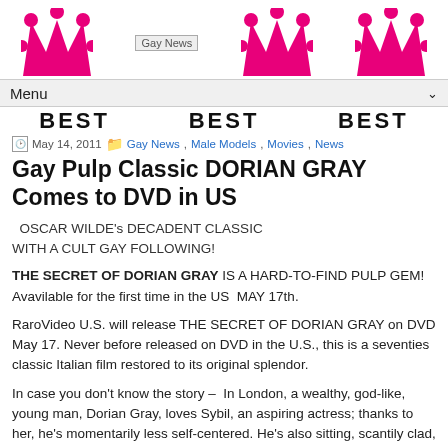Gay News — crowns banner with BEST text and Menu bar
May 14, 2011  Gay News, Male Models, Movies, News
Gay Pulp Classic DORIAN GRAY Comes to DVD in US
OSCAR WILDE's DECADENT CLASSIC WITH A CULT GAY FOLLOWING!
THE SECRET OF DORIAN GRAY IS A HARD-TO-FIND PULP GEM! Avavilable for the first time in the US  MAY 17th.
RaroVideo U.S. will release THE SECRET OF DORIAN GRAY on DVD May 17. Never before released on DVD in the U.S., this is a seventies classic Italian film restored to its original splendor.
In case you don't know the story –  In London, a wealthy, god-like, young man, Dorian Gray, loves Sybil, an aspiring actress; thanks to her, he's momentarily less self-centered. He's also sitting, scantily clad, for a portrait painted by his ascot-wearing friend, Basil. When it's done, Dorian